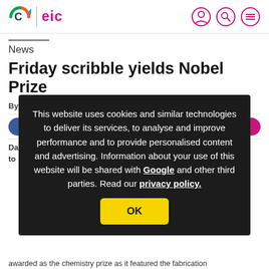eic — header with logo and navigation icons
News
Friday scribble yields Nobel Prize
By David Bradley | 1 January 2011
This website uses cookies and similar technologies to deliver its services, to analyse and improve performance and to provide personalised content and advertising. Information about your use of this website will be shared with Google and other third parties. Read our privacy policy.
awarded as the chemistry prize as it featured the fabrication